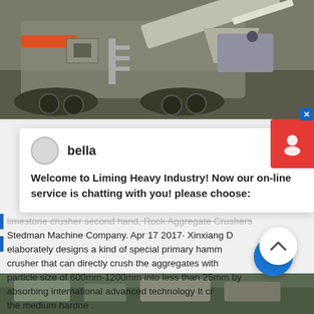[Figure (photo): Industrial rock crushing machine / mobile crusher on tracks in a quarry/outdoor setting, viewed from the side. Machine has orange and white/grey colors with large conveyor belt arm extended.]
[Figure (screenshot): Chat popup overlay from Liming Heavy Industry website showing user 'bella' with message: Welcome to Liming Heavy Industry! Now our on-line service is chatting with you! please choose:]
limestone crusher second hand, Rock Aggregate Crushers Stedman Machine Company. Apr 17 2017· Xinxiang Di elaborately designs a kind of special primary hammer crusher that can directly crush the aggregates with particle size of 600mm-1200mm into less than 25mm by absorbing international advanced technology It cru the medium hardne .
[Figure (photo): Partial bottom strip image showing outdoor industrial/quarry scene with machinery.]